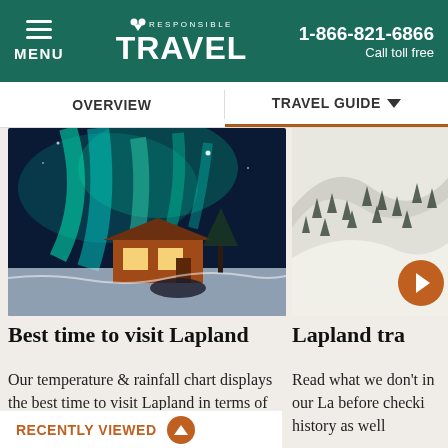MENU | Responsible TRAVEL | 1-866-821-6866 Call toll free
OVERVIEW | TRAVEL GUIDE
[Figure (photo): Northern lights (aurora borealis) over a glowing wooden cabin in snowy Lapland winter landscape]
[Figure (photo): Aerial view of snow-covered forested hills in Lapland]
Best time to visit Lapland
Our temperature & rainfall chart displays the best time to visit Lapland in terms of climate, with ers and
Lapland tra
Read what we don't in our La before checki history as well